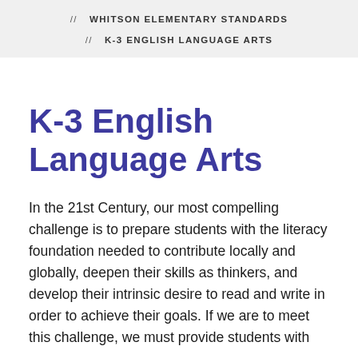// WHITSON ELEMENTARY STANDARDS
// K-3 ENGLISH LANGUAGE ARTS
K-3 English Language Arts
In the 21st Century, our most compelling challenge is to prepare students with the literacy foundation needed to contribute locally and globally, deepen their skills as thinkers, and develop their intrinsic desire to read and write in order to achieve their goals. If we are to meet this challenge, we must provide students with